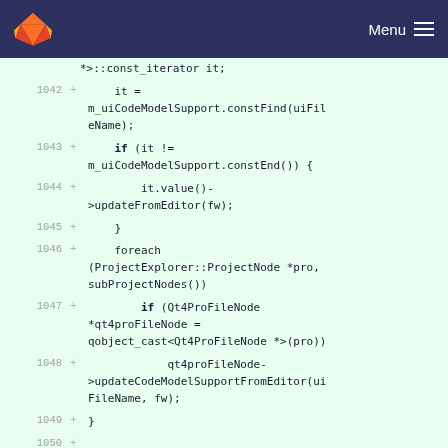GitLab Menu
[Figure (screenshot): Code diff view showing lines 1042-1050 of a C++ source file with added lines (marked with +) on a green background. Code involves iterators, constFind, updateFromEditor, foreach ProjectNode loop, Qt4ProFileNode cast, and updateCodeModelSupportFromEditor.]